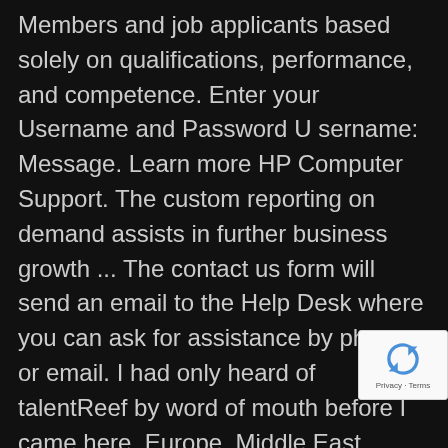Members and job applicants based solely on qualifications, performance, and competence. Enter your Username and Password U sername: Message. Learn more HP Computer Support. The custom reporting on demand assists in further business growth ... The contact us form will send an email to the Help Desk where you can ask for assistance by phone or email. I had only heard of talentReef by word of mouth before I came here. Europe, Middle East, Africa (EMEA) Asia Pacific and Japan (APAC) Americas. For any kind of query you can contact Talentreef customer supprot number or visit official website: TalentReef customer servic 866.562.2774; Email Address: customerservice@talentreef.com; Related
[Figure (logo): reCAPTCHA badge with blue recycling-arrow icon and 'Privacy - Terms' text]